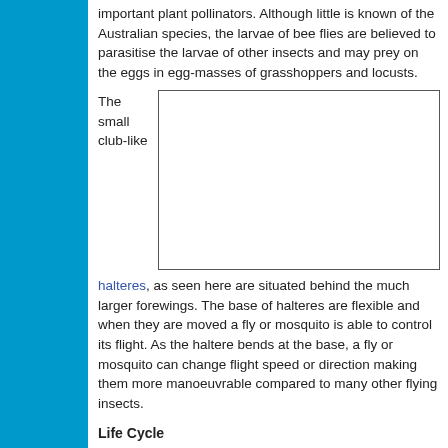important plant pollinators. Although little is known of the Australian species, the larvae of bee flies are believed to parasitise the larvae of other insects and may prey on the eggs in egg-masses of grasshoppers and locusts.
The small club-like
[Figure (photo): Photograph placeholder showing halteres of a fly]
halteres, as seen here are situated behind the much larger forewings. The base of halteres are flexible and when they are moved a fly or mosquito is able to control its flight. As the haltere bends at the base, a fly or mosquito can change flight speed or direction making them more manoeuvrable compared to many other flying insects.
Life Cycle
Flies have a complete life cycle and will mate while flying. The eggs are usually laid into suitable substrate or close by an appropriate food source. The larvae complete their development and pupate in the substrate where they were